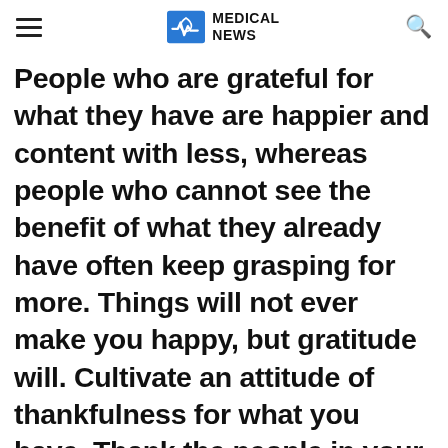MEDICAL NEWS
People who are grateful for what they have are happier and content with less, whereas people who cannot see the benefit of what they already have often keep grasping for more. Things will not ever make you happy, but gratitude will. Cultivate an attitude of thankfulness for what you have. Thank the people in your daily life and…
Advertisement
[Figure (screenshot): BitLife - Life Simulator advertisement banner with Ad badge, cartoon character image, red BitLife logo panel, app name and Install button]